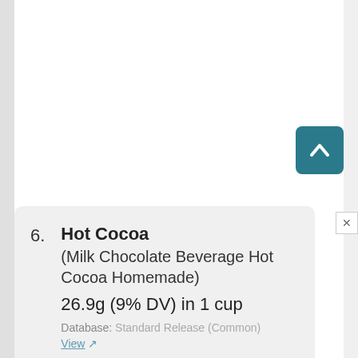6. Hot Cocoa (Milk Chocolate Beverage Hot Cocoa Homemade) 26.9g (9% DV) in 1 cup Database: Standard Release (Common) View